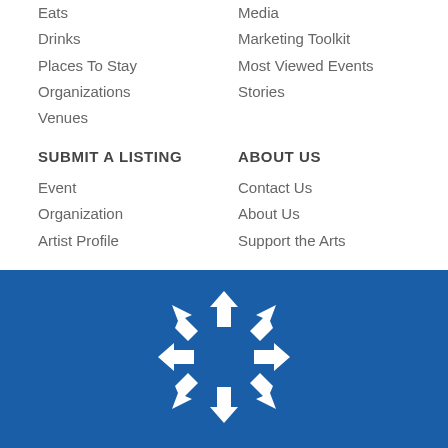Eats
Drinks
Places To Stay
Organizations
Venues
Media
Marketing Toolkit
Most Viewed Events
Stories
SUBMIT A LISTING
ABOUT US
Event
Organization
Artist Profile
Contact Us
About Us
Support the Arts
[Figure (logo): White snowflake/compass-rose style logo with arrows pointing inward, on a dark blue background]